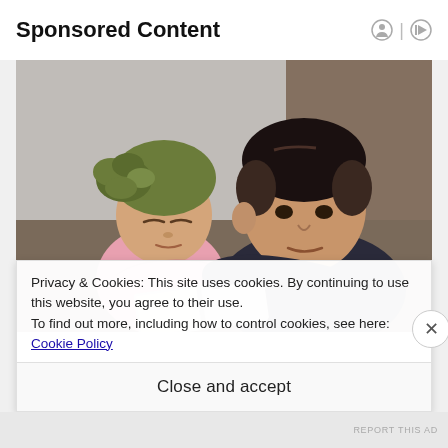Sponsored Content
[Figure (photo): A young boy sits on a sofa holding a baby girl wearing a green knotted headband/turban. Both are looking down at an open book. The boy wears a dark navy t-shirt and has a fade haircut. The baby wears a pink outfit.]
Privacy & Cookies: This site uses cookies. By continuing to use this website, you agree to their use.
To find out more, including how to control cookies, see here: Cookie Policy
Close and accept